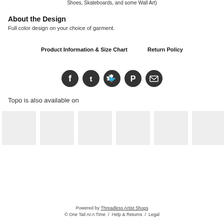Shoes, Skateboards, and some Wall Art)
About the Design
Full color design on your choice of garment.
Product Information & Size Chart    Return Policy
[Figure (infographic): Five social media sharing icons (Facebook, Tumblr, Twitter, Pinterest, Email) as dark circular buttons]
Topo is also available on
[Figure (photo): Six product thumbnail placeholder images in a row]
Powered by Threadless Artist Shops
© One Tail At A Time  /  Help & Returns  /  Legal